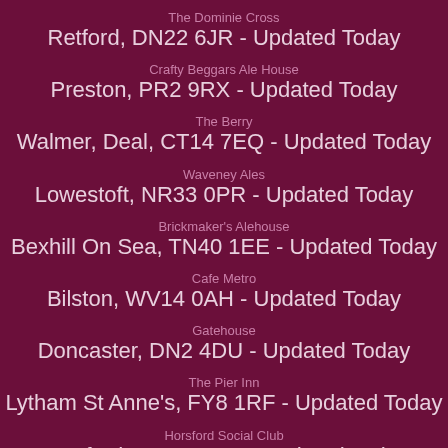The Dominie Cross
Retford, DN22 6JR - Updated Today
Crafty Beggars Ale House
Preston, PR2 9RX - Updated Today
The Berry
Walmer, Deal, CT14 7EQ - Updated Today
Waveney Ales
Lowestoft, NR33 0PR - Updated Today
Brickmaker's Alehouse
Bexhill On Sea, TN40 1EE - Updated Today
Cafe Metro
Bilston, WV14 0AH - Updated Today
Gatehouse
Doncaster, DN2 4DU - Updated Today
The Pier Inn
Lytham St Anne's, FY8 1RF - Updated Today
Horsford Social Club
Horsford, NR10 3DN - Updated Today
The Market Tavern